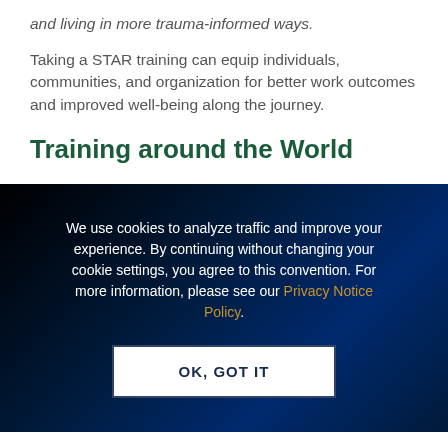and living in more trauma-informed ways.
Taking a STAR training can equip individuals, communities, and organization for better work outcomes and improved well-being along the journey.
Training around the World
We use cookies to analyze traffic and improve your experience. By continuing without changing your cookie settings, you agree to this convention. For more information, please see our Privacy Notice Policy.
OK, GOT IT